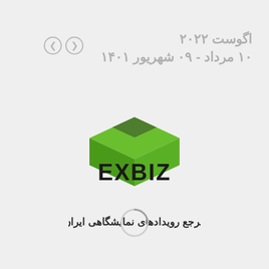اگوست ۲۰۲۲
۱۰ مرداد - ۰۹ شهریور ۱۴۰۱
[Figure (logo): EXBIZ logo with green 3D box shape and Persian text 'مرجع رویدادهای نمایشگاهی ایران']
[Figure (other): Loading spinner circle]